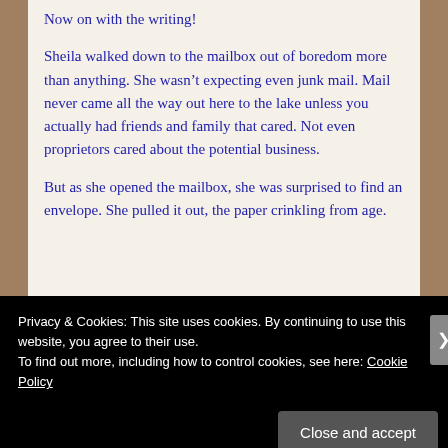Now on with the writing!
Sheila walked down to the mailbox out of boredom more than anything. She wasn't expecting even junk mail. Mail never came all the way out here to the lake unless you actually had friends and family that cared. Not even proprietors cared about the potential business.
But as she opened the mailbox, she was surprised to find an envelope. She pulled it out, the paper crinkling from age.
Privacy & Cookies: This site uses cookies. By continuing to use this website, you agree to their use.
To find out more, including how to control cookies, see here: Cookie Policy
Close and accept